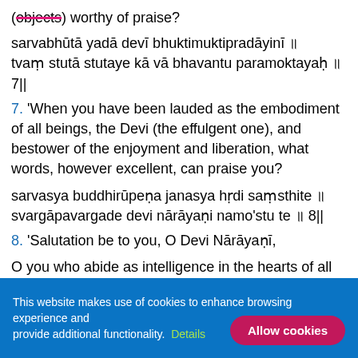(objects) worthy of praise?
sarvabhūtā yadā devī bhuktimuktipradāyinī ॥ tvaṃ stutā stutaye kā vā bhavantu paramoktayaḥ ॥ 7||
7. 'When you have been lauded as the embodiment of all beings, the Devi (the effulgent one), and bestower of the enjoyment and liberation, what words, however excellent, can praise you?
sarvasya buddhirūpeṇa janasya hṛdi saṃsthite ॥ svargāpavargade devi nārāyaṇi namo'stu te ॥ 8||
8. 'Salutation be to you, O Devi Nārāyaṇī,
O you who abide as intelligence in the hearts of all
This website makes use of cookies to enhance browsing experience and provide additional functionality. Details  Allow cookies